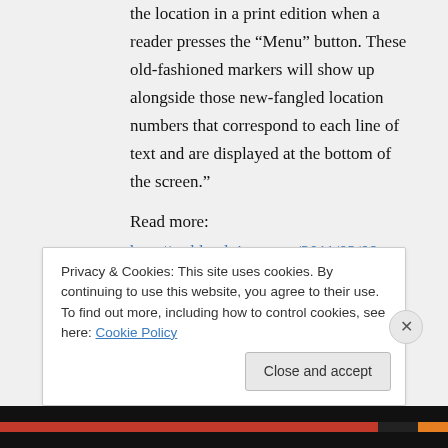the location in a print edition when a reader presses the “Menu” button. These old-fashioned markers will show up alongside those newfangled location numbers that correspond to each line of text and are displayed at the bottom of the screen.”
Read more:
http://techland.time.com/2011/02/09
Privacy & Cookies: This site uses cookies. By continuing to use this website, you agree to their use.
To find out more, including how to control cookies, see here: Cookie Policy